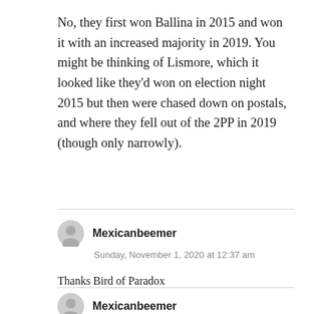No, they first won Ballina in 2015 and won it with an increased majority in 2019. You might be thinking of Lismore, which it looked like they'd won on election night 2015 but then were chased down on postals, and where they fell out of the 2PP in 2019 (though only narrowly).
Mexicanbeemer
Sunday, November 1, 2020 at 12:37 am

Thanks Bird of Paradox
Mexicanbeemer